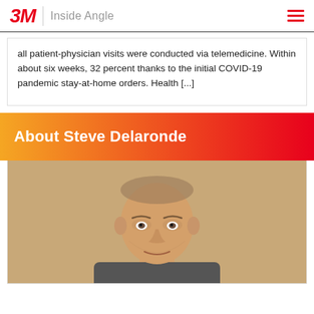3M Inside Angle
all patient-physician visits were conducted via telemedicine. Within about six weeks, 32 percent thanks to the initial COVID-19 pandemic stay-at-home orders. Health [...]
About Steve Delaronde
[Figure (photo): Professional headshot of Steve Delaronde, a middle-aged bald man against a tan/beige background]